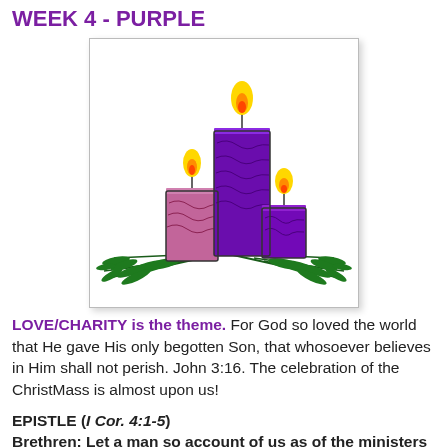WEEK 4 - PURPLE
[Figure (illustration): Three Advent candles (two purple, one pink/mauve) of different heights with yellow/orange flames, surrounded by green pine branches at the base, on a white background with light shadow border.]
LOVE/CHARITY is the theme. For God so loved the world that He gave His only begotten Son, that whosoever believes in Him shall not perish. John 3:16. The celebration of the ChristMass is almost upon us!
EPISTLE (I Cor. 4:1-5)
Brethren: Let a man so account of us as of the ministers of Christ and the dispensers of the mysteries of God. Here now it is required among the dispensers that a man be found faithful